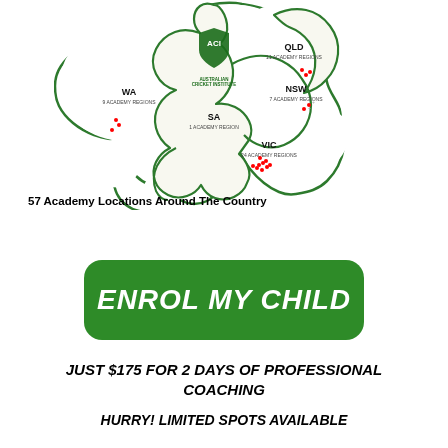[Figure (map): Map of Australia showing academy regions by state: WA (9 Academy Regions), SA (1 Academy Region), QLD (11 Academy Regions), NSW (7 Academy Regions), VIC (24 Academy Regions). Red dots mark academy locations. Australian Cricket Institute logo at top center of map.]
57 Academy Locations Around The Country
ENROL MY CHILD
JUST $175 FOR 2 DAYS OF PROFESSIONAL COACHING
HURRY! LIMITED SPOTS AVAILABLE